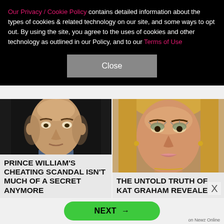Our Privacy / Cookie Policy contains detailed information about the types of cookies & related technology on our site, and some ways to opt out. By using the site, you agree to the uses of cookies and other technology as outlined in our Policy, and to our Terms of Use
Close
[Figure (photo): Close-up photo of Prince William with a serious expression against a dark background]
PRINCE WILLIAM'S CHEATING SCANDAL ISN'T MUCH OF A SECRET ANYMORE
[Figure (photo): Close-up glamour photo of Kat Graham with glittery eye makeup and blonde hair]
THE UNTOLD TRUTH OF KAT GRAHAM REVEALED
NEXT →
on Newz Online